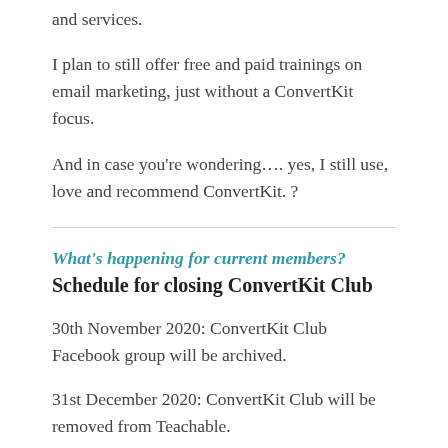and services.
I plan to still offer free and paid trainings on email marketing, just without a ConvertKit focus.
And in case you're wondering…. yes, I still use, love and recommend ConvertKit. ?
What's happening for current members?
Schedule for closing ConvertKit Club
30th November 2020: ConvertKit Club Facebook group will be archived.
31st December 2020: ConvertKit Club will be removed from Teachable.